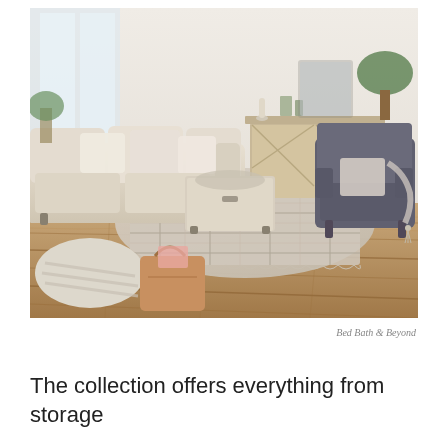[Figure (photo): Interior living room scene featuring a cream/beige sofa with decorative pillows, a plaid area rug with fringe, a rustic wooden storage coffee table, a dark grey wingback armchair, a barn-door style media console/sideboard with shelving, and potted plants. Hardwood floor visible in foreground with a striped floor pillow and tan leather tote bag. Bright, farmhouse-style decor.]
Bed Bath & Beyond
The collection offers everything from storage